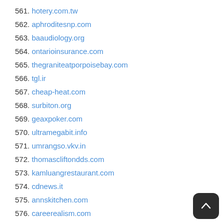561. hotery.com.tw
562. aphroditesnp.com
563. baaudiology.org
564. ontarioinsurance.com
565. thegraniteatporpoisebay.com
566. tgl.ir
567. cheap-heat.com
568. surbiton.org
569. geaxpoker.com
570. ultramegabit.info
571. umrangso.vkv.in
572. thomascliftondds.com
573. kamluangrestaurant.com
574. cdnews.it
575. annskitchen.com
576. careerealism.com
577. johncohenworksnow.com